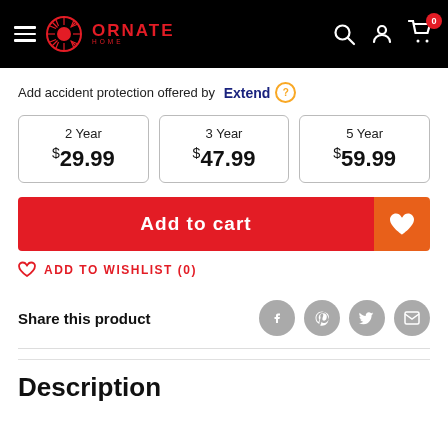ORNATE HOME — navigation header with hamburger menu, logo, search, account, cart (0)
Add accident protection offered by Extend ?
| 2 Year | 3 Year | 5 Year |
| --- | --- | --- |
| $29.99 | $47.99 | $59.99 |
Add to cart
ADD TO WISHLIST (0)
Share this product
Description